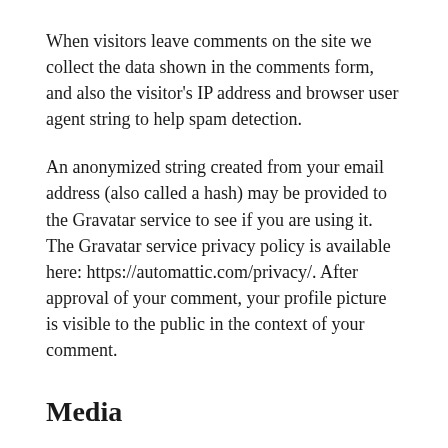When visitors leave comments on the site we collect the data shown in the comments form, and also the visitor's IP address and browser user agent string to help spam detection.
An anonymized string created from your email address (also called a hash) may be provided to the Gravatar service to see if you are using it. The Gravatar service privacy policy is available here: https://automattic.com/privacy/. After approval of your comment, your profile picture is visible to the public in the context of your comment.
Media
If you upload images to the website, you should avoid uploading images with embedded location